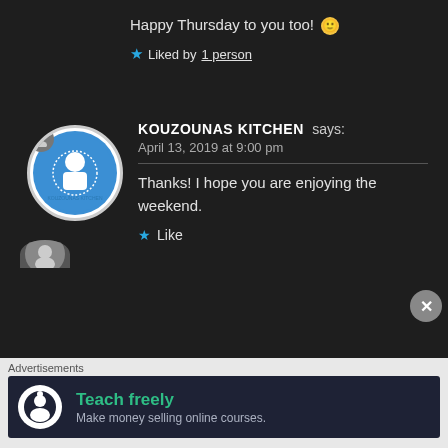Happy Thursday to you too! 🙂
★ Liked by 1 person
KOUZOUNAS KITCHEN says:
April 13, 2019 at 9:00 pm
Thanks! I hope you are enjoying the weekend.
★ Like
Advertisements
Teach freely
Make money selling online courses.